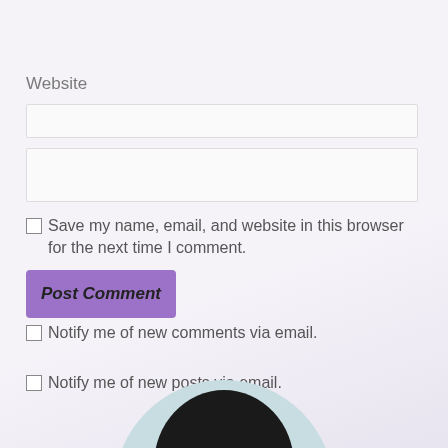Website
Save my name, email, and website in this browser for the next time I comment.
Post Comment
Notify me of new comments via email.
Notify me of new posts via email.
[Figure (photo): Partial view of a person's head/hair at the bottom of the page]